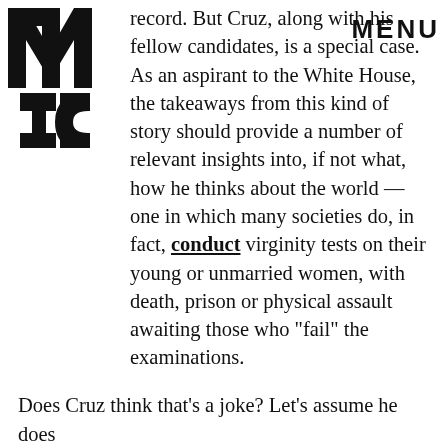MIC MENU
record. But Cruz, along with his fellow candidates, is a special case. As an aspirant to the White House, the takeaways from this kind of story should provide a number of relevant insights into, if not what, how he thinks about the world — one in which many societies do, in fact, conduct virginity tests on their young or unmarried women, with death, prison or physical assault awaiting those who "fail" the examinations.
ADVERTISEMENT
Does Cruz think that's a joke? Let's assume he does